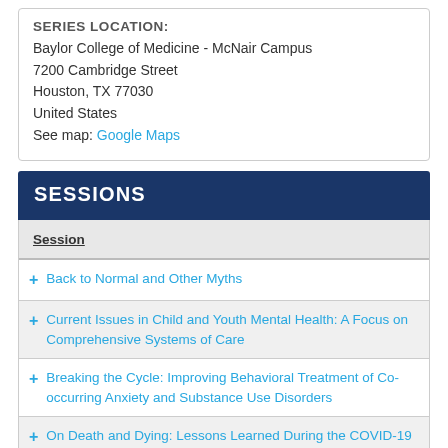SERIES LOCATION:
Baylor College of Medicine - McNair Campus
7200 Cambridge Street
Houston, TX 77030
United States
See map: Google Maps
SESSIONS
| Session |
| --- |
| Back to Normal and Other Myths |
| Current Issues in Child and Youth Mental Health: A Focus on Comprehensive Systems of Care |
| Breaking the Cycle: Improving Behavioral Treatment of Co-occurring Anxiety and Substance Use Disorders |
| On Death and Dying: Lessons Learned During the COVID-19 Pandemic |